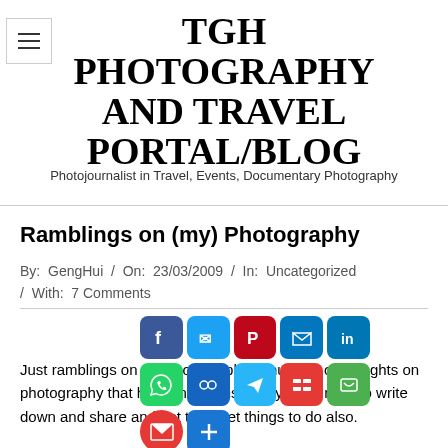TGH PHOTOGRAPHY AND TRAVEL PORTAL/BLOG
Photojournalist in Travel, Events, Documentary Photography
Ramblings on (my) Photography
By: GengHui / On: 23/03/2009 / In: Uncategorized / With: 7 Comments
[Figure (infographic): Social media share buttons: Facebook, Twitter, Pinterest, Email, LinkedIn, WhatsApp, Copy Link, Telegram, Flipboard, WeChat, Gmail, More]
Just ramblings on my photography, a number of thoughts on photography that has running inside my brain now, to write down and share and not to forget things to do also.